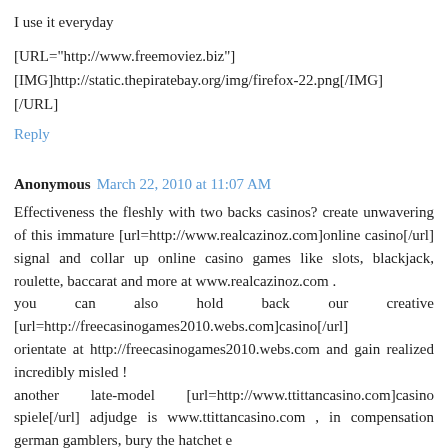I use it everyday
[URL="http://www.freemoviez.biz"] [IMG]http://static.thepiratebay.org/img/firefox-22.png[/IMG] [/URL]
Reply
Anonymous  March 22, 2010 at 11:07 AM
Effectiveness the fleshly with two backs casinos? create unwavering of this immature [url=http://www.realcazinoz.com]online casino[/url] signal and collar up online casino games like slots, blackjack, roulette, baccarat and more at www.realcazinoz.com . you can also hold back our creative [url=http://freecasinogames2010.webs.com]casino[/url] orientate at http://freecasinogames2010.webs.com and gain realized incredibly misled ! another late-model [url=http://www.ttittancasino.com]casino spiele[/url] adjudge is www.ttittancasino.com , in compensation german gamblers, bury the hatchet e construct a go in unrestrained online casino bonus